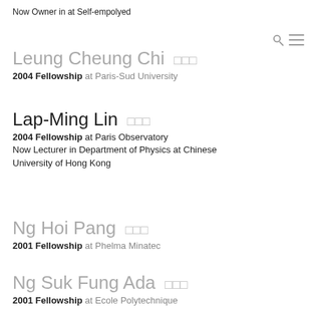Now Owner in at Self-empolyed
Leung Cheung Chi 梁祥智
2004 Fellowship at Paris-Sud University
Lap-Ming Lin 連立明
2004 Fellowship at Paris Observatory
Now Lecturer in Department of Physics at Chinese University of Hong Kong
Ng Hoi Pang 吳海鵬
2001 Fellowship at Phelma Minatec
Ng Suk Fung Ada 吳淑鳳
2001 Fellowship at Ecole Polytechnique